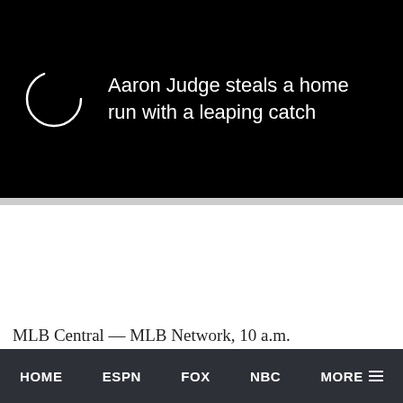[Figure (screenshot): Black video player banner with a circular loading spinner on the left and video title text on the right, with a close (X) button in the top-right corner]
Aaron Judge steals a home run with a leaping catch
MLB Central — MLB Network, 10 a.m.
The Rundown — MLB Network, 2 p.m.
MLB on FS1 Pregame — FS1, 6 p.m.
HOME   ESPN   FOX   NBC   MORE